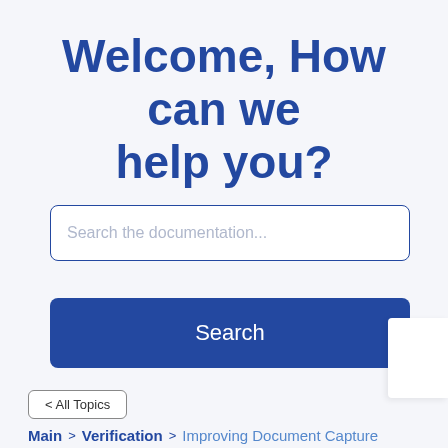Welcome, How can we help you?
Search the documentation...
Search
< All Topics
Main > Verification > Improving Document Capture